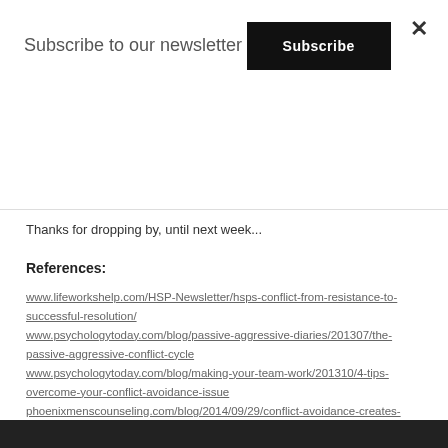Subscribe to our newsletter
Subscribe
Thanks for dropping by, until next week...
References:
www.lifeworkshelp.com/HSP-Newsletter/hsps-conflict-from-resistance-to-successful-resolution/
www.psychologytoday.com/blog/passive-aggressive-diaries/201307/the-passive-aggressive-conflict-cycle
www.psychologytoday.com/blog/making-your-team-work/201310/4-tips-overcome-your-conflict-avoidance-issue
phoenixmenscounseling.com/blog/2014/09/29/conflict-avoidance-creates-conflict/
www.psychologytoday.com/blog/resolution-not-conflict/201211/what-makes-conflict-how-are-conflicts-resolved